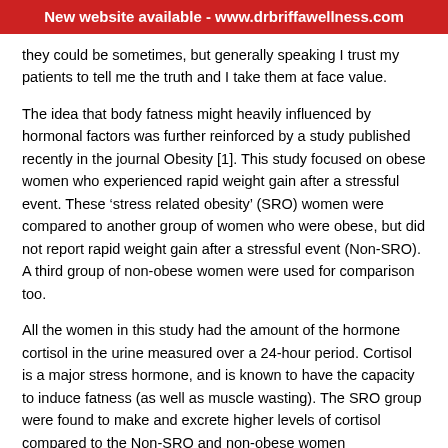New website available - www.drbriffawellness.com
they could be sometimes, but generally speaking I trust my patients to tell me the truth and I take them at face value.
The idea that body fatness might heavily influenced by hormonal factors was further reinforced by a study published recently in the journal Obesity [1]. This study focused on obese women who experienced rapid weight gain after a stressful event. These ‘stress related obesity’ (SRO) women were compared to another group of women who were obese, but did not report rapid weight gain after a stressful event (Non-SRO). A third group of non-obese women were used for comparison too.
All the women in this study had the amount of the hormone cortisol in the urine measured over a 24-hour period. Cortisol is a major stress hormone, and is known to have the capacity to induce fatness (as well as muscle wasting). The SRO group were found to make and excrete higher levels of cortisol compared to the Non-SRO and non-obese women